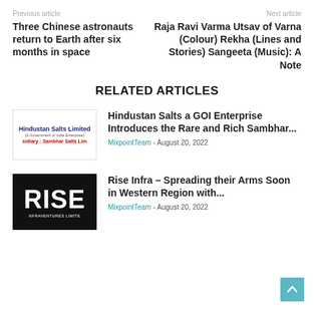Previous article | Next article
Three Chinese astronauts return to Earth after six months in space
Raja Ravi Varma Utsav of Varna (Colour) Rekha (Lines and Stories) Sangeeta (Music): A Note
RELATED ARTICLES
[Figure (logo): Hindustan Salts Limited logo with subsidiary Sambhar Salts Lim text]
Hindustan Salts a GOI Enterprise Introduces the Rare and Rich Sambhar...
MixpointTeam - August 20, 2022
[Figure (logo): RISE INFRAVENTURES LIMITED black logo]
Rise Infra – Spreading their Arms Soon in Western Region with...
MixpointTeam - August 20, 2022